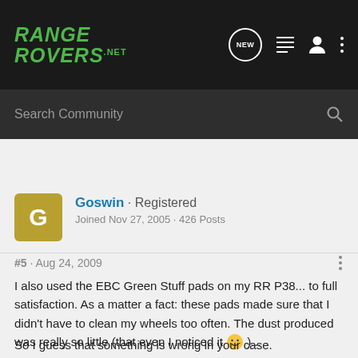RANGE ROVERS.NET
Search Community
[Figure (other): User avatar with letter G on golden/olive background]
Goswin · Registered
Joined Nov 27, 2005 · 426 Posts
#5 · Aug 24, 2009
I also used the EBC Green Stuff pads on my RR P38... to full satisfaction. As a matter a fact: these pads made sure that I didn't have to clean my wheels too often. The dust produced was really so little (that even I noticed it 🙂 )...
So I guess that something is wrong in your case.